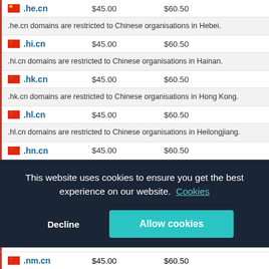| Domain | Price 1 | Price 2 |
| --- | --- | --- |
| .he.cn | $45.00 | $60.50 |
| .he.cn domains are restricted to Chinese organisations in Hebei. |  |  |
| .hi.cn | $45.00 | $60.50 |
| .hi.cn domains are restricted to Chinese organisations in Hainan. |  |  |
| .hk.cn | $45.00 | $60.50 |
| .hk.cn domains are restricted to Chinese organisations in Hong Kong. |  |  |
| .hl.cn | $45.00 | $60.50 |
| .hl.cn domains are restricted to Chinese organisations in Heilongjiang. |  |  |
| .hn.cn | $45.00 | $60.50 |
| .hn.cn domains are restricted to Chinese organisations in Hunan. |  |  |
| .jl.cn | $45.00 | $60.50 |
| .jl.cn domains are restricted to Chinese organisations in Jilin. |  |  |
| .js.cn | $45.00 | $60.50 |
| .js.cn domains are restricted to Chinese organisations in Jiangsu. |  |  |
| .jx.cn | $45.00 | $60.50 |
| .nm.cn | $45.00 | $60.50 |
This website uses cookies to ensure you get the best experience on our website. Cookies
Decline
Allow cookies